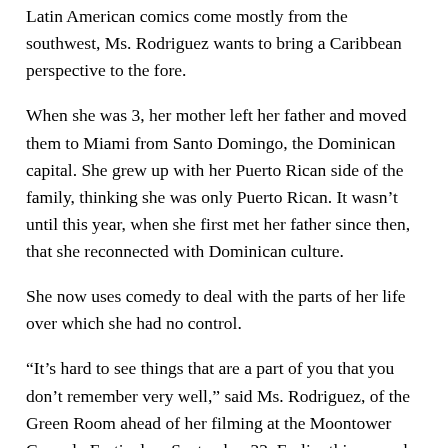Latin American comics come mostly from the southwest, Ms. Rodriguez wants to bring a Caribbean perspective to the fore.
When she was 3, her mother left her father and moved them to Miami from Santo Domingo, the Dominican capital. She grew up with her Puerto Rican side of the family, thinking she was only Puerto Rican. It wasn’t until this year, when she first met her father since then, that she reconnected with Dominican culture.
She now uses comedy to deal with the parts of her life over which she had no control.
“It’s hard to see things that are a part of you that you don’t remember very well,” said Ms. Rodriguez, of the Green Room ahead of her filming at the Moontower Comedy Festival on September 22. Earlier this year, she filmed a one-hour comedy special, which premieres on HBO Max on November 4. On the show, she uses material that relates to her upbringing and struggles. She looks at it all without flinching. In fact, she even ran